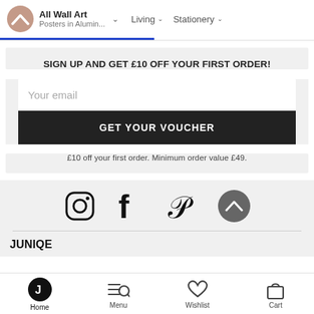All Wall Art | Posters in Alumin... | Living | Stationery
SIGN UP AND GET £10 OFF YOUR FIRST ORDER!
Your email
GET YOUR VOUCHER
£10 off your first order. Minimum order value £49.
[Figure (illustration): Social media icons: Instagram, Facebook, Pinterest, and a scroll-to-top arrow button]
JUNIQE
Home | Menu | Wishlist | Cart